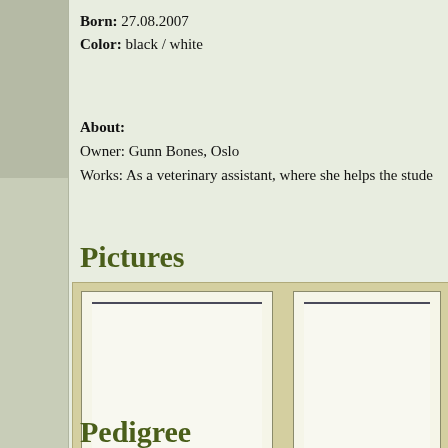Born: 27.08.2007
Color: black / white
About:
Owner: Gunn Bones, Oslo
Works: As a veterinary assistant, where she helps the stude
Pictures
[Figure (photo): Two image placeholder boxes in a tan/khaki container, each with a dark horizontal line near the top suggesting a photo placeholder]
Pedigree